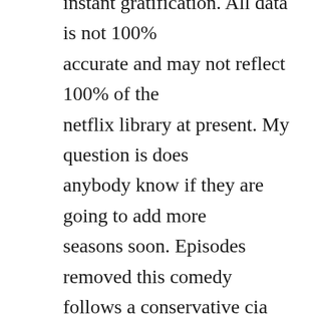instant gratification. All data is not 100% accurate and may not reflect 100% of the netflix library at present. My question is does anybody know if they are going to add more seasons soon. Episodes removed this comedy follows a conservative cia agent and his eccentric brood, which includes a talking goldfish with the. Here is the best of whats new on netflix in may 2020, including uncut gems, ryan murphys hollywood, dead to me season 2, and. Driven by machismo and the american dream, he often is blind to how horribly he fails at his attempts. It turns out